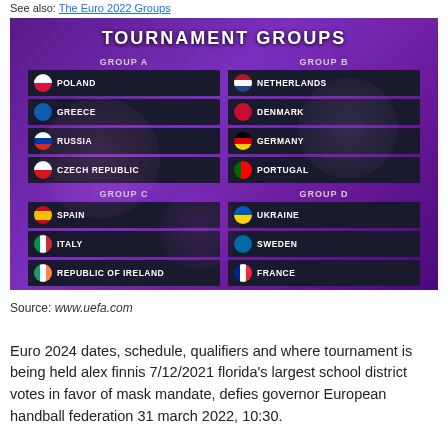See also: The Euro 2022 Groups
[Figure (infographic): Tournament Groups display board showing Euro groups A, B, C, D with country teams and flags on a purple background. Group A: Poland, Greece, Russia, Czech Republic. Group B: Netherlands, Denmark, Germany, Portugal. Group C: Spain, Italy, Republic of Ireland. Group D: Ukraine, Sweden, France.]
Source: www.uefa.com
Euro 2024 dates, schedule, qualifiers and where tournament is being held alex finnis 7/12/2021 florida's largest school district votes in favor of mask mandate, defies governor European handball federation 31 march 2022, 10:30.